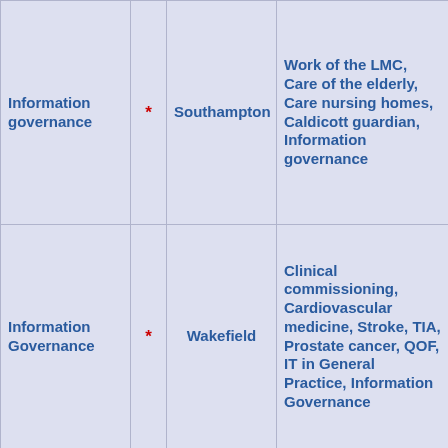| Information governance | * | Southampton | Work of the LMC, Care of the elderly, Care nursing homes, Caldicott guardian, Information governance |
| Information Governance | * | Wakefield | Clinical commissioning, Cardiovascular medicine, Stroke, TIA, Prostate cancer, QOF, IT in General Practice, Information Governance |